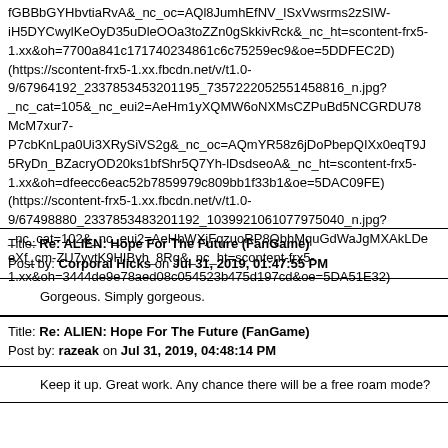fGBBbGYHbvtiaRvA&_nc_oc=AQl8JumhEfNV_ISxVwsrms2zSIW-iH5DYCwylKeOyD35uDleOOa3toZZn0gSkkivRck&_nc_ht=scontent-frx5-1.xx&oh=7700a841c17174 0234861c6c75259ec9&oe=5DDFEC2D) (https://scontent-frx5-1.xx.fbcdn.net/v/t1.0-9/67964192_2337853453201195_7357222052551458816_n.jpg?_nc_cat=105&_nc_eui2=AeHm1yXQMW6oNXMsCZPuBd5NCGRDU78McM7xur7-P7cbKnLpa0Ui3XRySiVS2g&_nc_oc=AQmYR58z6jDoPbepQIXx0eqT9J5RyDn_BZacryOD20ks1bfShr5Q7Yh-lDsdseoA&_nc_ht=scontent-frx5-1.xx&oh=dfeecc6eac52b7859979c809bb1f33b1&oe=5DAC09FE) (https://scontent-frx5-1.xx.fbcdn.net/v/t1.0-9/67498880_2337853483201192_1039921061077975040_n.jpg?_nc_cat=102&_nc_eui2=AeHbWXjFqzuoRP8QbhMquGdWaJgMXAkLDeXf_cm-ZU7yvtK9HIBvh_8Rg&_nc_ht=scontent-frx5-1.xx&oh=3444de9e78aed08c054523b475d197cd&oe=5DA51E32)
Title: Re: ALIEN: Hope For The Future (FanGame)
Post by: Corporal Hicks on Jul 31, 2019, 01:47:55 PM
Gorgeous. Simply gorgeous.
Title: Re: ALIEN: Hope For The Future (FanGame)
Post by: razeak on Jul 31, 2019, 04:48:14 PM
Keep it up. Great work. Any chance there will be a free roam mode?